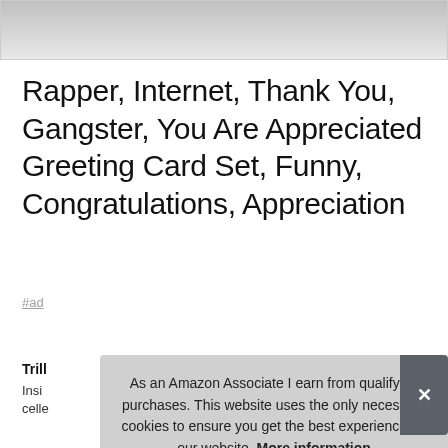[Figure (photo): Partial product image shown at top of page, gradient gray background visible]
Rapper, Internet, Thank You, Gangster, You Are Appreciated Greeting Card Set, Funny, Congratulations, Appreciation
#ad
Trill
Inside... cellophane...
As an Amazon Associate I earn from qualifying purchases. This website uses the only necessary cookies to ensure you get the best experience on our website. More information